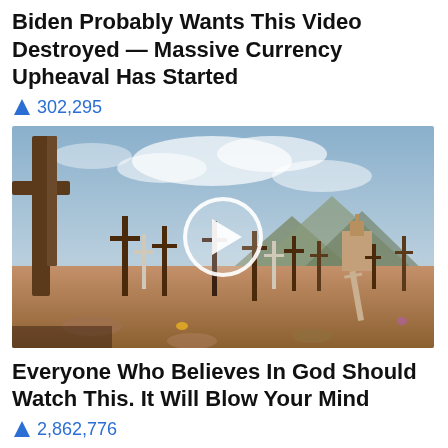Biden Probably Wants This Video Destroyed — Massive Currency Upheaval Has Started
🔥 302,295
[Figure (photo): Cemetery scene with wooden crosses in a desert landscape, mountains and church in the background, cloudy sky. Video play button overlay in the center.]
Everyone Who Believes In God Should Watch This. It Will Blow Your Mind
🔥 2,862,776
Sponsored Ad
HOME > NEWS > John Durham's 'Spygate' Probe Just